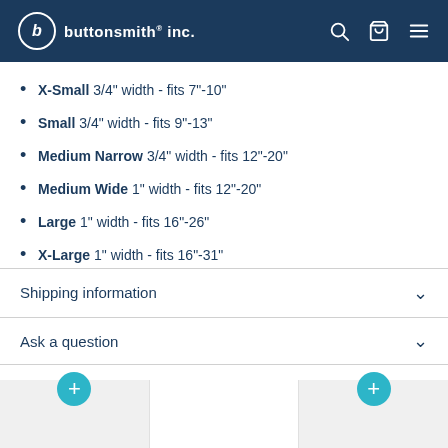buttonsmith® inc.
X-Small 3/4" width - fits 7"-10"
Small 3/4" width - fits 9"-13"
Medium Narrow 3/4" width - fits 12"-20"
Medium Wide 1" width - fits 12"-20"
Large 1" width - fits 16"-26"
X-Large 1" width - fits 16"-31"
Shipping information
Ask a question
More from Rebecca McGovern